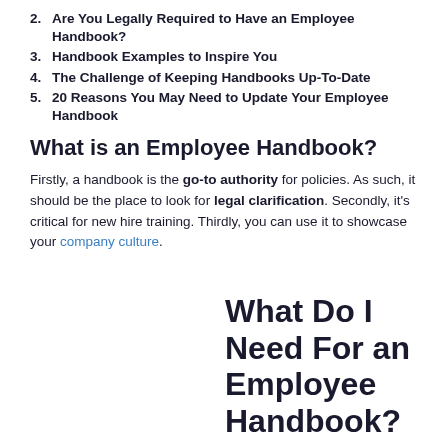2. Are You Legally Required to Have an Employee Handbook?
3. Handbook Examples to Inspire You
4. The Challenge of Keeping Handbooks Up-To-Date
5. 20 Reasons You May Need to Update Your Employee Handbook
What is an Employee Handbook?
Firstly, a handbook is the go-to authority for policies. As such, it should be the place to look for legal clarification. Secondly, it's critical for new hire training. Thirdly, you can use it to showcase your company culture.
What Do I Need For an Employee Handbook?